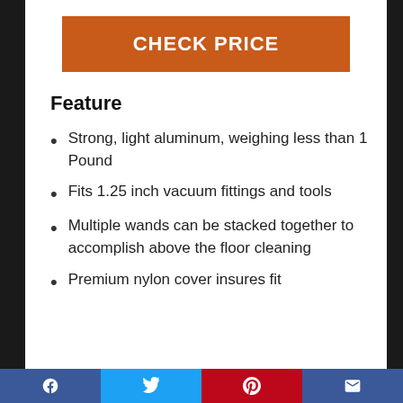CHECK PRICE
Feature
Strong, light aluminum, weighing less than 1 Pound
Fits 1.25 inch vacuum fittings and tools
Multiple wands can be stacked together to accomplish above the floor cleaning
Premium nylon cover insures fit
Facebook | Twitter | Pinterest | Email